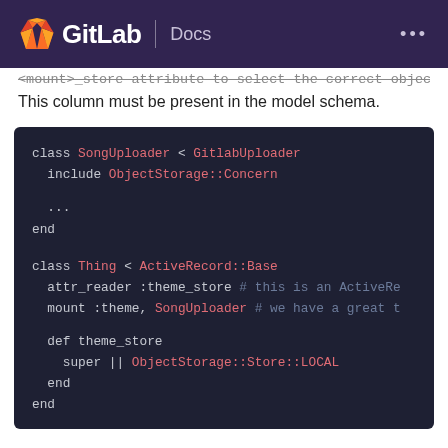GitLab | Docs
<mount>_store attribute to select the correct object store. This column must be present in the model schema.
[Figure (screenshot): Code block showing Ruby classes SongUploader and Thing with ObjectStorage concern and theme_store method]